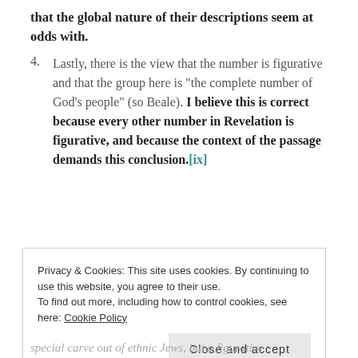that the global nature of their descriptions seem at odds with.
4. Lastly, there is the view that the number is figurative and that the group here is "the complete number of God's people" (so Beale). I believe this is correct because every other number in Revelation is figurative, and because the context of the passage demands this conclusion.[ix]
Privacy & Cookies: This site uses cookies. By continuing to use this website, you agree to their use.
To find out more, including how to control cookies, see here: Cookie Policy
Close and accept
special carve out of ethnic Jews, but a figurative